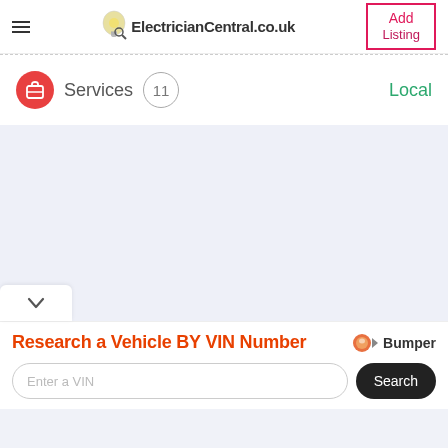ElectricianCentral.co.uk | Add Listing
Services  11  Local
[Figure (screenshot): Web page screenshot of ElectricianCentral.co.uk showing a services section with count 11 and Local label, followed by an advertisement banner for Bumper VIN number lookup]
Research a Vehicle BY VIN Number — Bumper
Enter a VIN  Search